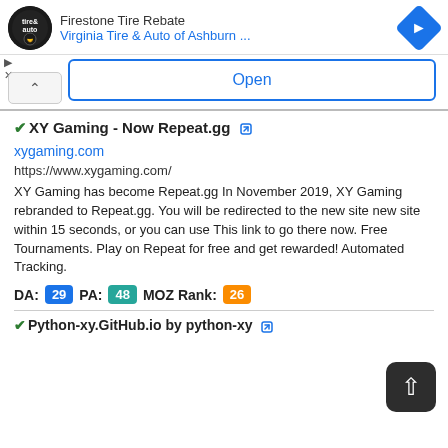[Figure (screenshot): Ad banner: Firestone Tire Rebate, Virginia Tire & Auto of Ashburn... with logo and blue diamond icon]
Open
✔XY Gaming - Now Repeat.gg [external link icon]
xygaming.com
https://www.xygaming.com/
XY Gaming has become Repeat.gg In November 2019, XY Gaming rebranded to Repeat.gg. You will be redirected to the new site new site within 15 seconds, or you can use This link to go there now. Free Tournaments. Play on Repeat for free and get rewarded! Automated Tracking.
DA: 29  PA: 48  MOZ Rank: 26
✔Python-xy.GitHub.io by python-xy [external link icon]